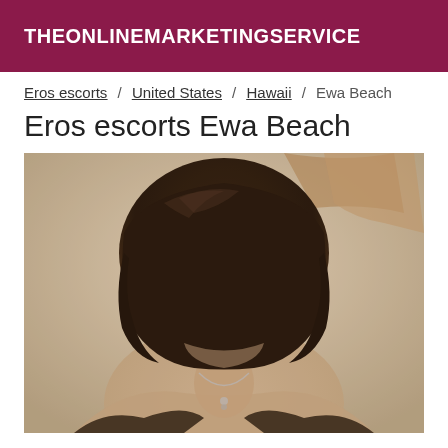THEONLINEMARKETINGSERVICE
Eros escorts / United States / Hawaii / Ewa Beach
Eros escorts Ewa Beach
[Figure (photo): Sepia-toned photograph of a woman with dark bob haircut, head bowed forward showing the back of her head, wearing a necklace and dark clothing, with an ornate gold mirror frame visible in the background.]